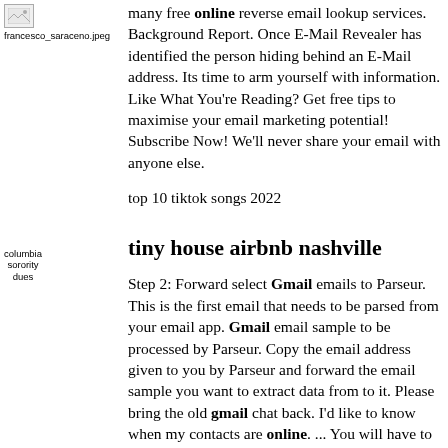[Figure (photo): Broken image placeholder labeled francesco_saraceno.jpeg]
many free online reverse email lookup services. Background Report. Once E-Mail Revealer has identified the person hiding behind an E-Mail address. Its time to arm yourself with information. Like What You're Reading? Get free tips to maximise your email marketing potential! Subscribe Now! We'll never share your email with anyone else.
top 10 tiktok songs 2022
[Figure (photo): Broken image placeholder labeled columbia sorority dues]
tiny house airbnb nashville
Step 2: Forward select Gmail emails to Parseur. This is the first email that needs to be parsed from your email app. Gmail email sample to be processed by Parseur. Copy the email address given to you by Parseur and forward the email sample you want to extract data from to it. Please bring the old gmail chat back. I'd like to know when my contacts are online. ... You will have to open a chat